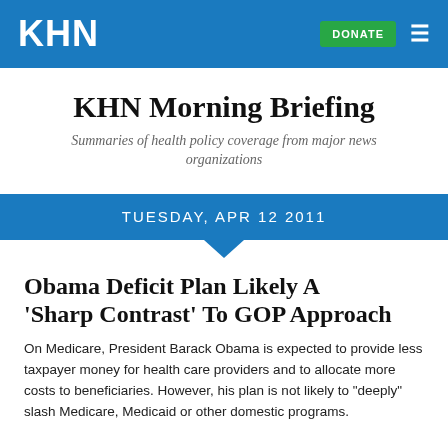KHN
KHN Morning Briefing
Summaries of health policy coverage from major news organizations
TUESDAY, APR 12 2011
Obama Deficit Plan Likely A 'Sharp Contrast' To GOP Approach
On Medicare, President Barack Obama is expected to provide less taxpayer money for health care providers and to allocate more costs to beneficiaries. However, his plan is not likely to "deeply" slash Medicare, Medicaid or other domestic programs.